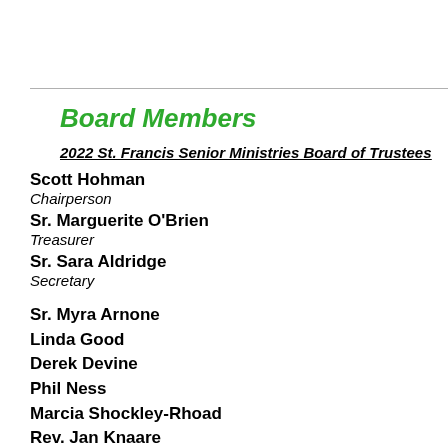Board Members
2022 St. Francis Senior Ministries Board of Trustees
Scott Hohman
Chairperson
Sr. Marguerite O'Brien
Treasurer
Sr. Sara Aldridge
Secretary
Sr. Myra Arnone
Linda Good
Derek Devine
Phil Ness
Marcia Shockley-Rhoad
Rev. Jan Knaare